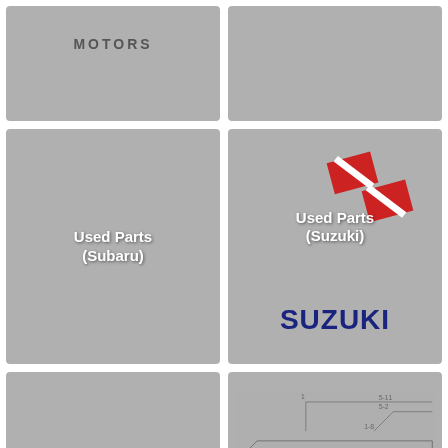[Figure (logo): Gray tile with MOTORS text]
[Figure (logo): Gray tile (empty)]
[Figure (logo): Gray tile with Used Parts (Subaru) text]
[Figure (logo): Gray tile with Suzuki logo diamond shape and SUZUKI wordmark, Used Parts (Suzuki) text]
[Figure (logo): Gray tile with Toyota logo ring emblem and TOYOTA wordmark, Used Parts (Toyota) text]
[Figure (engineering-diagram): Gray tile with engineering parts diagram, VEZEL e:HEV RV5 2021 PLAY label]